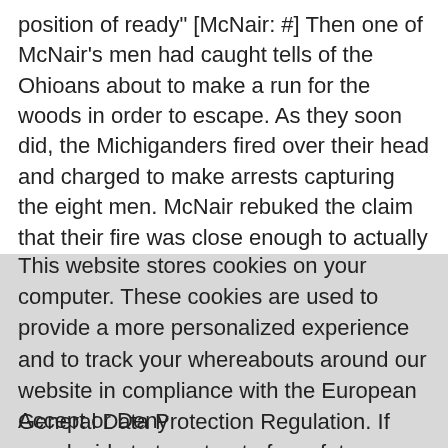position of ready" [McNair: #] Then one of McNair's men had caught tells of the Ohioans about to make a run for the woods in order to escape. As they soon did, the Michiganders fired over their head and charged to make arrests capturing the eight men. McNair rebuked the claim that their fire was close enough to actually endanger the men as claimed in the letter to Ohioan Governor Lucas.
This website stores cookies on your computer. These cookies are used to provide a more personalized experience and to track your whereabouts around our website in compliance with the European General Data Protection Regulation. If you decide to to opt-out of any future tracking, a cookie will be setup in your browser to remember this choice for one year.
Accept or Deny